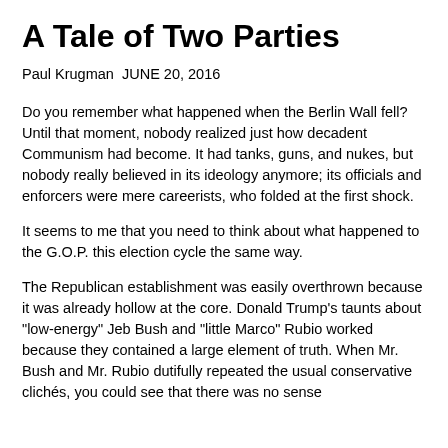A Tale of Two Parties
Paul Krugman JUNE 20, 2016
Do you remember what happened when the Berlin Wall fell? Until that moment, nobody realized just how decadent Communism had become. It had tanks, guns, and nukes, but nobody really believed in its ideology anymore; its officials and enforcers were mere careerists, who folded at the first shock.
It seems to me that you need to think about what happened to the G.O.P. this election cycle the same way.
The Republican establishment was easily overthrown because it was already hollow at the core. Donald Trump's taunts about "low-energy" Jeb Bush and "little Marco" Rubio worked because they contained a large element of truth. When Mr. Bush and Mr. Rubio dutifully repeated the usual conservative clichés, you could see that there was no sense